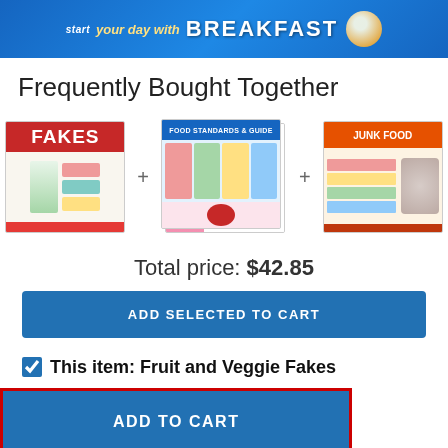[Figure (photo): Banner image with colorful breakfast foods and text 'START your day with BREAKFAST']
Frequently Bought Together
[Figure (illustration): Three product thumbnail images in a row with plus signs between them: Fruit and Veggie Fakes poster, a food chart poster, and a Junk Food Facts poster]
Total price: $42.85
ADD SELECTED TO CART
This item: Fruit and Veggie Fakes
ADD TO CART